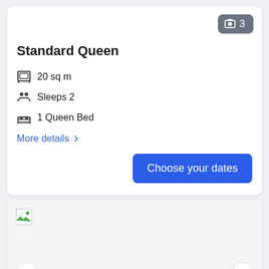[Figure (screenshot): Photo badge showing image count: 3]
Standard Queen
20 sq m
Sleeps 2
1 Queen Bed
More details >
Choose your dates
[Figure (photo): Hotel room photo carousel with broken image placeholder and left/right navigation arrows]